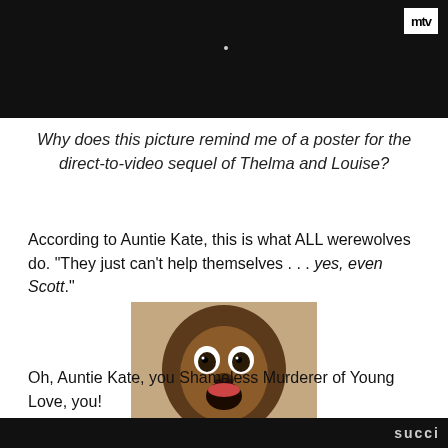[Figure (screenshot): Dark background screenshot with MTV logo in upper right corner and a small white dot near center top]
Why does this picture remind me of a poster for the direct-to-video sequel of Thelma and Louise?
According to Auntie Kate, this is what ALL werewolves do. "They just can't help themselves . . . yes, even Scott."
[Figure (photo): Baby orangutan in a green sweater with a surprised/shocked expression, mouth open wide]
Oh, Auntie Kate, you Shameless Murderer of Young Love, you!
[Figure (screenshot): Dark bottom bar with partial white text visible]